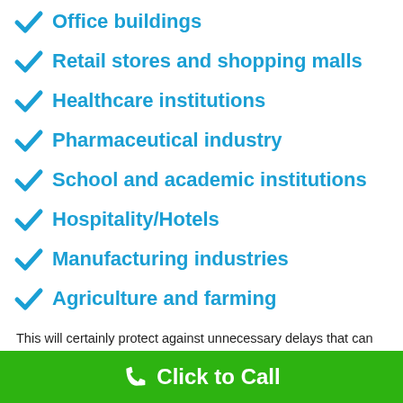Office buildings
Retail stores and shopping malls
Healthcare institutions
Pharmaceutical industry
School and academic institutions
Hospitality/Hotels
Manufacturing industries
Agriculture and farming
This will certainly protect against unnecessary delays that can trigger various other concerns as well as issues down the roadway. If your inspectors find that there is a problem that needs to be handled, after that the initial point you need to do is arrange a visit for an expert in Millbrae California to find out and take an appearance at the problem.
Click to Call